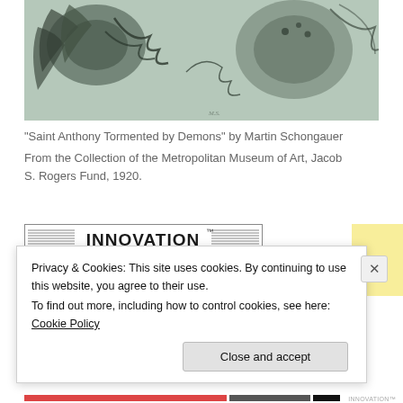[Figure (illustration): Partial view of 'Saint Anthony Tormented by Demons' by Martin Schongauer — a detailed black and white engraving showing fantastical demon creatures with wings and claws on a grey background.]
“Saint Anthony Tormented by Demons” by Martin Schongauer
From the Collection of the Metropolitan Museum of Art, Jacob S. Rogers Fund, 1920.
[Figure (logo): INNOVATION logo in bold uppercase letters with horizontal lines on either side, inside a rectangular border.]
Privacy & Cookies: This site uses cookies. By continuing to use this website, you agree to their use.
To find out more, including how to control cookies, see here: Cookie Policy
Close and accept